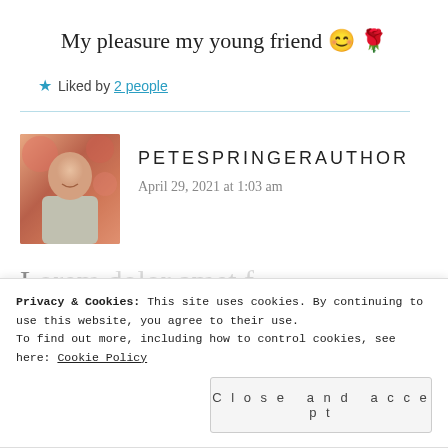My pleasure my young friend 😊 🌹
★ Liked by 2 people
PETESPRINGERAUTHOR
April 29, 2021 at 1:03 am
everything and can't get pregnant. For
Privacy & Cookies: This site uses cookies. By continuing to use this website, you agree to their use. To find out more, including how to control cookies, see here: Cookie Policy
Close and accept